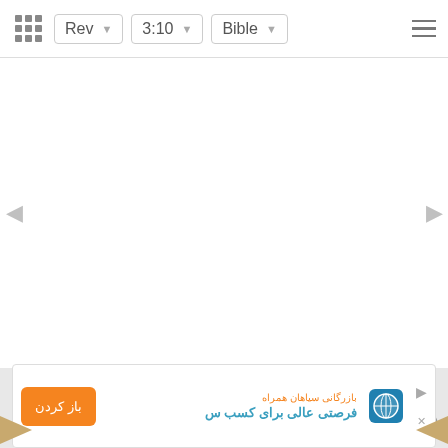Rev  3:10  Bible
[Figure (screenshot): Bible app navigation bar with grid icon, Rev dropdown, 3:10 dropdown, Bible dropdown, and hamburger menu]
[Figure (screenshot): Empty white content area with left and right navigation arrows on sides]
[Figure (screenshot): Gray advertisement area with close (X) button and Persian language ad banner showing orange button with text 'باز کردن' and Persian text 'بازرگانی سیاهان همراه' and 'فرصتی عالی برای کسب س']